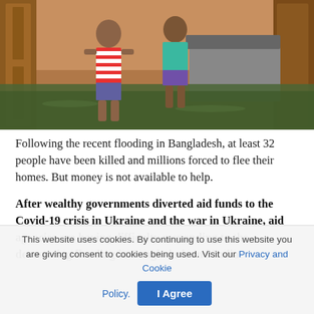[Figure (photo): Two children standing/sitting in a flooded indoor room. The floor is covered with greenish flood water. Wooden door visible on the left. One child wears a red-and-white striped shirt, the other wears a teal/green top and purple shorts.]
Following the recent flooding in Bangladesh, at least 32 people have been killed and millions forced to flee their homes. But money is not available to help.
After wealthy governments diverted aid funds to the Covid-19 crisis in Ukraine and the war in Ukraine, aid agencies are having difficulty responding to the devastating flooding in Bangladesh and India.
This website uses cookies. By continuing to use this website you are giving consent to cookies being used. Visit our Privacy and Cookie Policy.